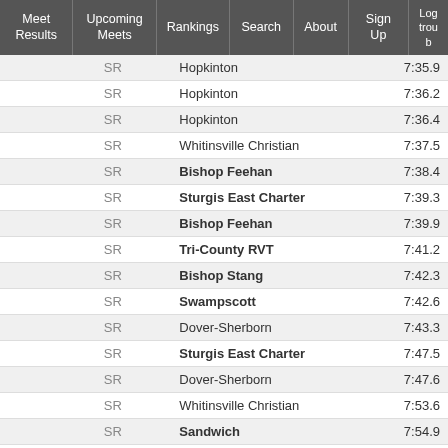Meet Results | Upcoming Meets | Rankings | Search | About | Sign Up | Log trouble
|  | Grade | School | Time |
| --- | --- | --- | --- |
|  | SR | Hopkinton | 7:35.9 |
|  | SR | Hopkinton | 7:36.2 |
|  | SR | Hopkinton | 7:36.4 |
|  | SR | Whitinsville Christian | 7:37.5 |
|  | SR | Bishop Feehan | 7:38.4 |
|  | SR | Sturgis East Charter | 7:39.3 |
|  | SR | Bishop Feehan | 7:39.9 |
|  | SR | Tri-County RVT | 7:41.2 |
|  | SR | Bishop Stang | 7:42.3 |
|  | SR | Swampscott | 7:42.6 |
|  | SR | Dover-Sherborn | 7:43.3 |
|  | SR | Sturgis East Charter | 7:47.5 |
|  | SR | Dover-Sherborn | 7:47.6 |
|  | SR | Whitinsville Christian | 7:53.6 |
|  | SR | Sandwich | 7:54.9 |
|  | SR | Melrose | 7:58.2 |
|  | SR | Sturgis East Charter | 8:07.2 |
|  | SR | Burlington | 8:12.9 |
|  | SR | Burlington | 8:23.1 |